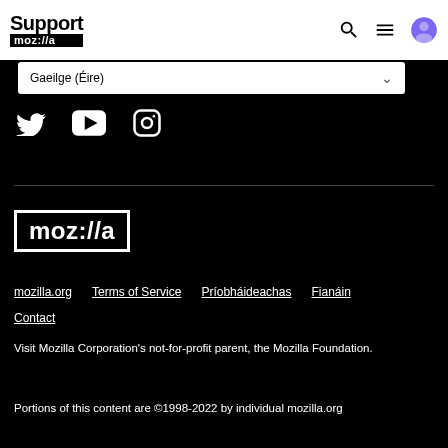Support moz://a
Gaeilge (Éire)
[Figure (illustration): Twitter, YouTube, and Instagram social media icons in white on black background]
[Figure (logo): Mozilla logo: moz://a in white text on white-bordered box, black background]
mozilla.org
Terms of Service
Príobháideachas
Fianáin
Contact
Visit Mozilla Corporation's not-for-profit parent, the Mozilla Foundation.
Portions of this content are ©1998-2022 by individual mozilla.org